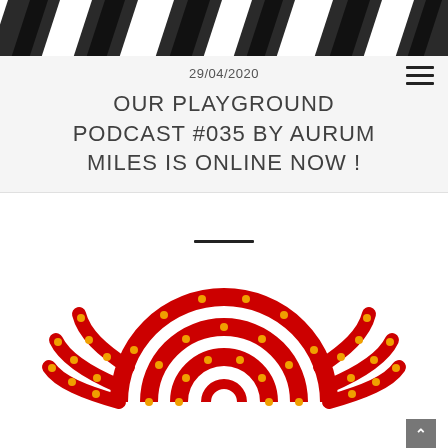[Figure (photo): Black and white diagonal stripes photo header image]
29/04/2020
OUR PLAYGROUND PODCAST #035 BY AURUM MILES IS ONLINE NOW !
[Figure (illustration): Red and yellow dotted sun/logo illustration with concentric arcs and radiating lines, resembling a stylized sun character in the style of Keith Haring]